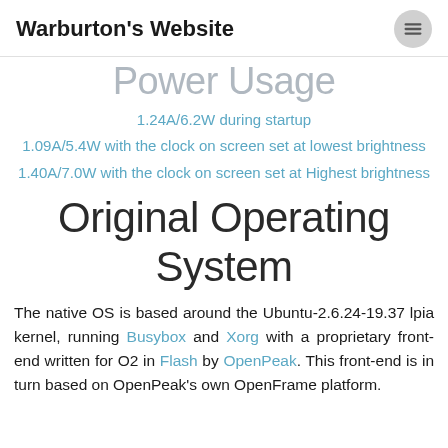Warburton's Website
Power Usage (cropped/partial)
1.24A/6.2W during startup
1.09A/5.4W with the clock on screen set at lowest brightness
1.40A/7.0W with the clock on screen set at Highest brightness
Original Operating System
The native OS is based around the Ubuntu-2.6.24-19.37 lpia kernel, running Busybox and Xorg with a proprietary front-end written for O2 in Flash by OpenPeak. This front-end is in turn based on OpenPeak's own OpenFrame platform.